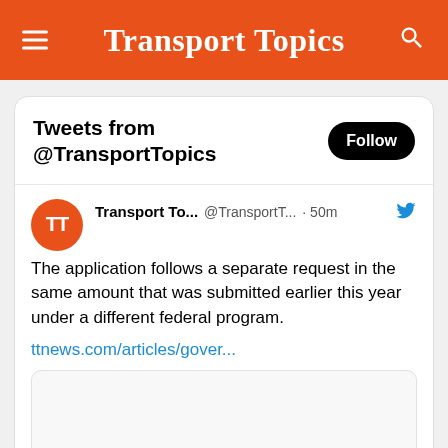Transport Topics
Tweets from @TransportTopics
Transport To... @TransportT... · 50m
The application follows a separate request in the same amount that was submitted earlier this year under a different federal program.
ttnews.com/articles/gover...
[Figure (screenshot): Linked article preview image placeholder (blank/loading)]